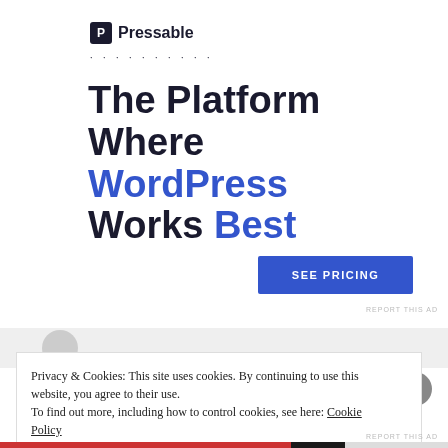[Figure (logo): Pressable logo with blue/dark square icon and text 'Pressable']
The Platform Where WordPress Works Best
[Figure (other): Blue 'SEE PRICING' call-to-action button]
REPORT THIS AD
Privacy & Cookies: This site uses cookies. By continuing to use this website, you agree to their use.
To find out more, including how to control cookies, see here: Cookie Policy
Close and accept